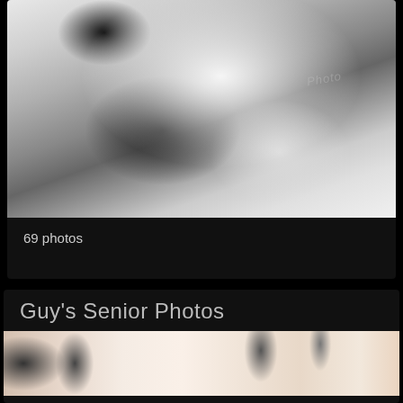[Figure (photo): Black and white photograph of a young girl with a white flower headband leaning over a newborn baby wearing a white headband, with a stuffed animal toy nearby, lying on a white blanket. Watermark text partially visible.]
69 photos
Guy's Senior Photos
[Figure (photo): Blurry/out-of-focus photograph with peach/pink tones, showing what appears to be books or objects on a shelf, heavily blurred background.]